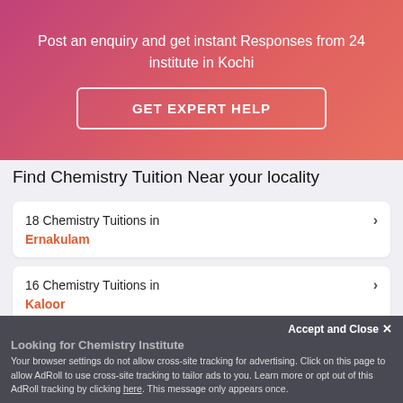Post an enquiry and get instant Responses from 24 institute in Kochi
GET EXPERT HELP
Find Chemistry Tuition Near your locality
18 Chemistry Tuitions in Ernakulam
16 Chemistry Tuitions in Kaloor
Looking for Chemistry Institute
Accept and Close ✕
Your browser settings do not allow cross-site tracking for advertising. Click on this page to allow AdRoll to use cross-site tracking to tailor ads to you. Learn more or opt out of this AdRoll tracking by clicking here. This message only appears once.